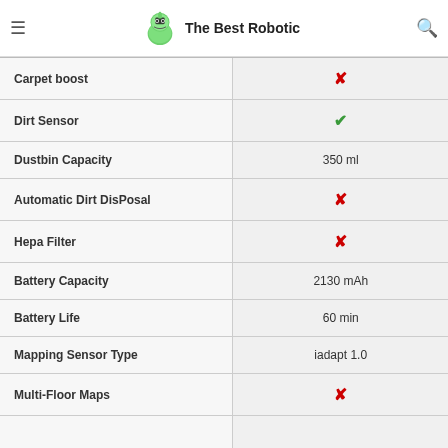The Best Robotic
| Feature | Value |
| --- | --- |
| Carpet boost | ✗ |
| Dirt Sensor | ✓ |
| Dustbin Capacity | 350 ml |
| Automatic Dirt DisPosal | ✗ |
| Hepa Filter | ✗ |
| Battery Capacity | 2130 mAh |
| Battery Life | 60 min |
| Mapping Sensor Type | iadapt 1.0 |
| Multi-Floor Maps | ✗ |